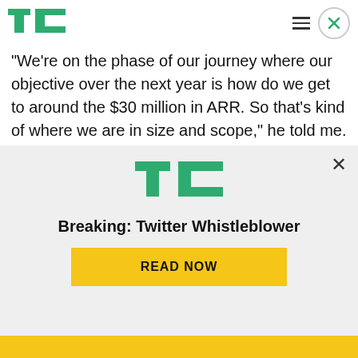TechCrunch logo, hamburger menu, close button
"We're on the phase of our journey where our objective over the next year is how do we get to around the $30 million in ARR. So that's kind of where we are in size and scope," he told me.
Paul Drews, partner and head of U.S. investments at Salesforce Ventures, which is leading the investment in the company in this round, says a company like Vivun is particularly important to help
[Figure (logo): TechCrunch TC logo in green, centered in ad overlay]
Breaking: Twitter Whistleblower
READ NOW